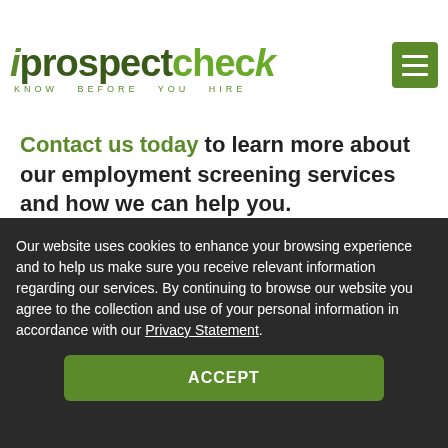[Figure (logo): iprospectcheck logo with tagline KNOW BEFORE YOU HIRE and hamburger menu icon]
Contact us today to learn more about our employment screening services and how we can help you.
[Figure (illustration): Green rounded rectangle card/banner area]
Our website uses cookies to enhance your browsing experience and to help us make sure you receive relevant information regarding our services. By continuing to browse our website you agree to the collection and use of your personal information in accordance with our Privacy Statement.
ACCEPT